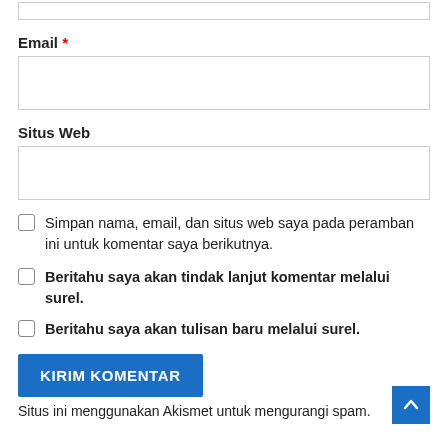Email *
Situs Web
Simpan nama, email, dan situs web saya pada peramban ini untuk komentar saya berikutnya.
Beritahu saya akan tindak lanjut komentar melalui surel.
Beritahu saya akan tulisan baru melalui surel.
KIRIM KOMENTAR
Situs ini menggunakan Akismet untuk mengurangi spam.